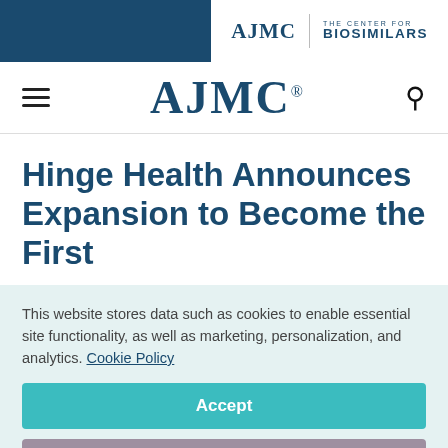AJMC | THE CENTER FOR BIOSIMILARS
AJMC
Hinge Health Announces Expansion to Become the First
This website stores data such as cookies to enable essential site functionality, as well as marketing, personalization, and analytics. Cookie Policy
Accept
Deny